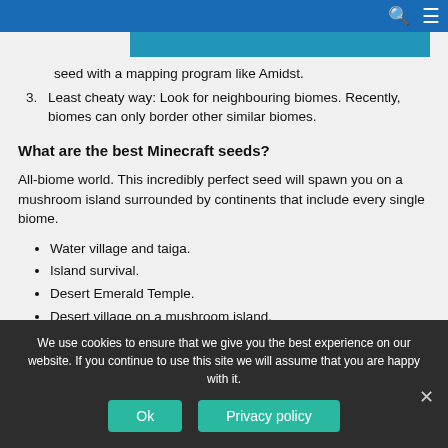Navigation bar with search and menu icons
seed with a mapping program like Amidst.
3. Least cheaty way: Look for neighbouring biomes. Recently, biomes can only border other similar biomes.
What are the best Minecraft seeds?
All-biome world. This incredibly perfect seed will spawn you on a mushroom island surrounded by continents that include every single biome.
Water village and taiga.
Island survival.
Desert Emerald Temple.
Desert village on a mushroom island.
We use cookies to ensure that we give you the best experience on our website. If you continue to use this site we will assume that you are happy with it.